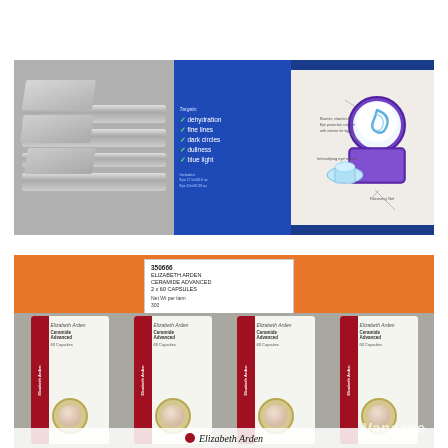[Figure (photo): A photograph taken in a Costco warehouse store showing Elizabeth Arden product packaging. Left portion shows metal shelving with grey trays. Right portion shows a blue product box with checklist targeting: dehydration, fine lines, dark circles, dullness, blue light. A cream/gel product illustration is visible on the packaging.]
[Figure (photo): A photograph taken in a Costco warehouse store showing Elizabeth Arden Ceramide Advanced 2x60 Capsules priced at $69.99 (item 350666). Orange Costco shelf with white price tag visible. Bottom portion shows multiple Elizabeth Arden Ceramide capsule product boxes displayed on the shelf. Vansave watermark in lower right.]